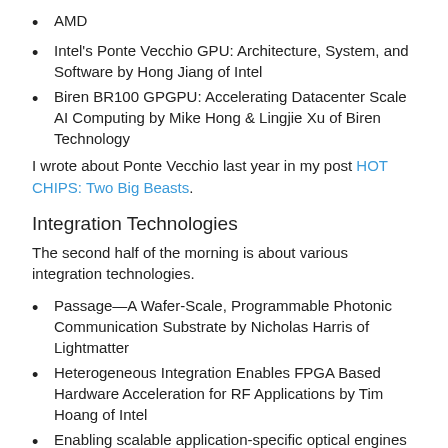AMD
Intel's Ponte Vecchio GPU: Architecture, System, and Software by Hong Jiang of Intel
Biren BR100 GPGPU: Accelerating Datacenter Scale AI Computing by Mike Hong & Lingjie Xu of Biren Technology
I wrote about Ponte Vecchio last year in my post HOT CHIPS: Two Big Beasts.
Integration Technologies
The second half of the morning is about various integration technologies.
Passage—A Wafer-Scale, Programmable Photonic Communication Substrate by Nicholas Harris of Lightmatter
Heterogeneous Integration Enables FPGA Based Hardware Acceleration for RF Applications by Tim Hoang of Intel
Enabling scalable application-specific optical engines (ASOE) by monolithic integration of photonics and electronics by Christoph Schulien